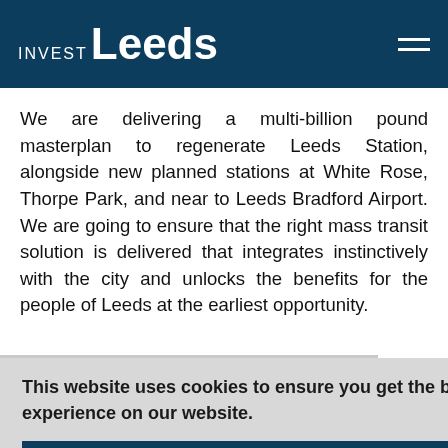INVEST Leeds
We are delivering a multi-billion pound masterplan to regenerate Leeds Station, alongside new planned stations at White Rose, Thorpe Park, and near to Leeds Bradford Airport. We are going to ensure that the right mass transit solution is delivered that integrates instinctively with the city and unlocks the benefits for the people of Leeds at the earliest opportunity.
You can find our ambition to transform our city, at
This website uses cookies to ensure you get the best experience on our website.
Continue
t Us
alm, the long-term sustainability of all our transport services. We